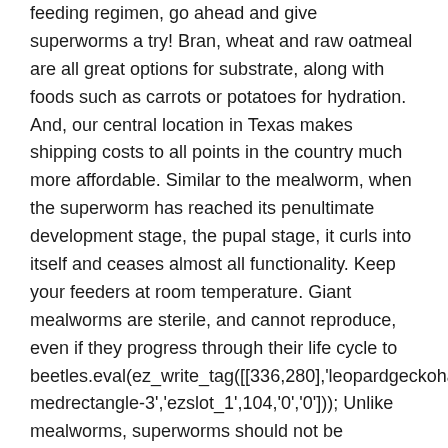feeding regimen, go ahead and give superworms a try! Bran, wheat and raw oatmeal are all great options for substrate, along with foods such as carrots or potatoes for hydration. And, our central location in Texas makes shipping costs to all points in the country much more affordable. Similar to the mealworm, when the superworm has reached its penultimate development stage, the pupal stage, it curls into itself and ceases almost all functionality. Keep your feeders at room temperature. Giant mealworms are sterile, and cannot reproduce, even if they progress through their life cycle to beetles.eval(ez_write_tag([[336,280],'leopardgeckohabitat_com-medrectangle-3','ezslot_1',104,'0','0'])); Unlike mealworms, superworms should not be refrigerated. 50 worms is plenty to start out with – after a couple weeks of breeding, you'll produce tons of worms! If you keep them together you will never obtain beetles to start another generation. In their adult stage, superworms can reach an average of 1.5-2 inches in length and are quite thick — comparable to a No. Similar to mealworms, the